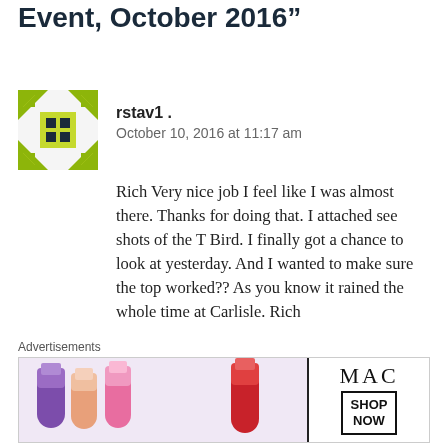Event, October 2016”
[Figure (illustration): Green and yellow geometric mosaic/quilt pattern avatar icon for user rstav1]
rstav1 .
October 10, 2016 at 11:17 am
Rich Very nice job I feel like I was almost there. Thanks for doing that. I attached see shots of the T Bird. I finally got a chance to look at yesterday. And I wanted to make sure the top worked?? As you know it rained the whole time at Carlisle. Rich
On Mon, Oct 10, 2016 at 8:03 AM,
richardocarbloc wrote:
Advertisements
[Figure (photo): MAC Cosmetics advertisement banner showing lipsticks in purple, pink, and red with MAC logo and SHOP NOW button]